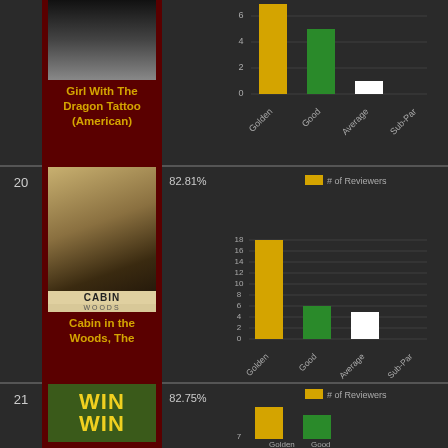[Figure (bar-chart): Girl With The Dragon Tattoo (American) - top partial row]
20
[Figure (illustration): Cabin in the Woods movie poster]
Cabin in the Woods, The
82.81%
[Figure (bar-chart): Cabin in the Woods reviewer distribution]
21
[Figure (illustration): Win Win movie poster]
82.75%
[Figure (bar-chart): Win Win reviewer distribution]